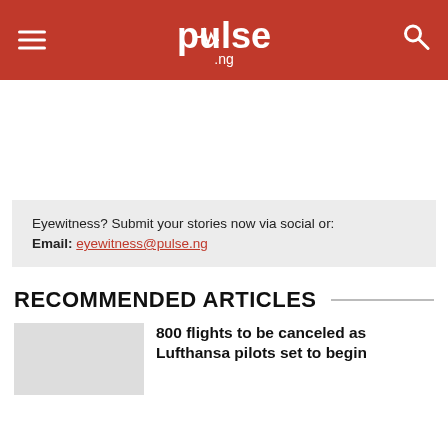pulse.ng
Eyewitness? Submit your stories now via social or:
Email: eyewitness@pulse.ng
RECOMMENDED ARTICLES
800 flights to be canceled as Lufthansa pilots set to begin